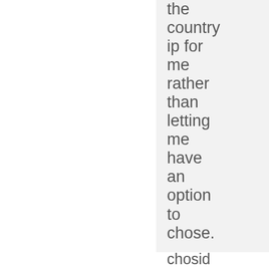the country ip for me rather than letting me have an option to chose.
chosid